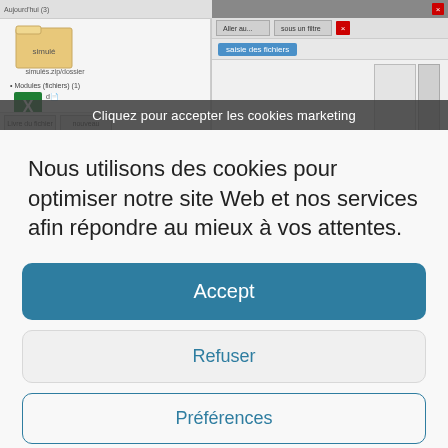[Figure (screenshot): Screenshot of a file manager and dialog window UI, partially obscured by a dark cookie consent banner overlay reading 'Cliquez pour accepter les cookies marketing']
Nous utilisons des cookies pour optimiser notre site Web et nos services afin répondre au mieux à vos attentes.
Accept
Refuser
Préférences
Politique des Cookies   Politique de confidentialité